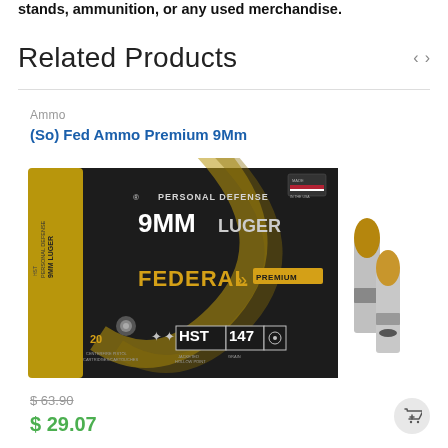stands, ammunition, or any used merchandise.
Related Products
Ammo
(So) Fed Ammo Premium 9Mm
[Figure (photo): Federal Premium Personal Defense 9MM Luger HST 147 Grain ammunition box (20 rounds) with two loose bullets displayed beside the box. The box is dark with gold accents.]
$ 63.90
$ 29.07